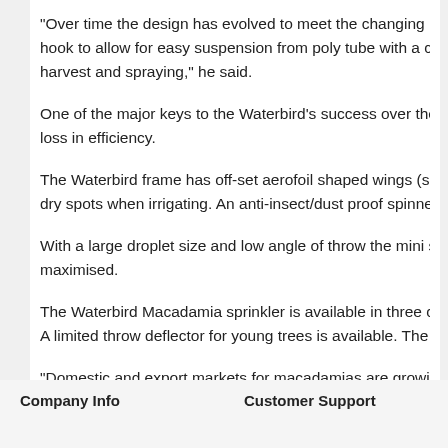"Over time the design has evolved to meet the changing needs o... hook to allow for easy suspension from poly tube with a cable tie... harvest and spraying," he said.
One of the major keys to the Waterbird's success over the years... loss in efficiency.
The Waterbird frame has off-set aerofoil shaped wings (shaped l... dry spots when irrigating. An anti-insect/dust proof spinner retrac...
With a large droplet size and low angle of throw the mini sprinkle... maximised.
The Waterbird Macadamia sprinkler is available in three colour-c... A limited throw deflector for young trees is available. The mini sp...
"Domestic and export markets for macadamias are growing. The... years of trouble free operation,: Mr Allen said.
For more information contact Geoff Allen on 0419 869 016. The W...
Company Info    Customer Support